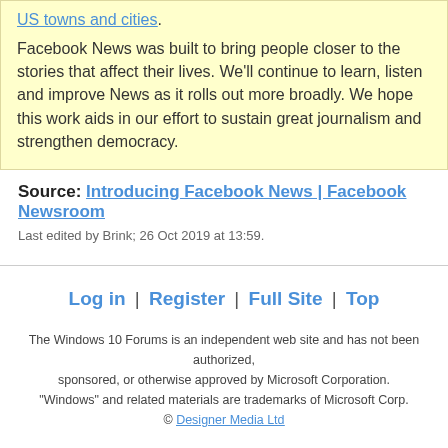US towns and cities.
Facebook News was built to bring people closer to the stories that affect their lives. We'll continue to learn, listen and improve News as it rolls out more broadly. We hope this work aids in our effort to sustain great journalism and strengthen democracy.
Source: Introducing Facebook News | Facebook Newsroom
Last edited by Brink; 26 Oct 2019 at 13:59.
Log in | Register | Full Site | Top
The Windows 10 Forums is an independent web site and has not been authorized, sponsored, or otherwise approved by Microsoft Corporation. "Windows" and related materials are trademarks of Microsoft Corp. © Designer Media Ltd